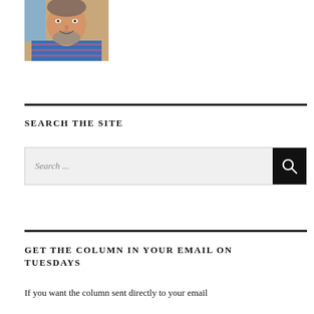[Figure (photo): Headshot photo of a smiling middle-aged man with a grey beard wearing a blue striped shirt]
SEARCH THE SITE
[Figure (screenshot): Search bar with placeholder text 'Search ...' and a black search button with magnifying glass icon]
GET THE COLUMN IN YOUR EMAIL ON TUESDAYS
If you want the column sent directly to your email